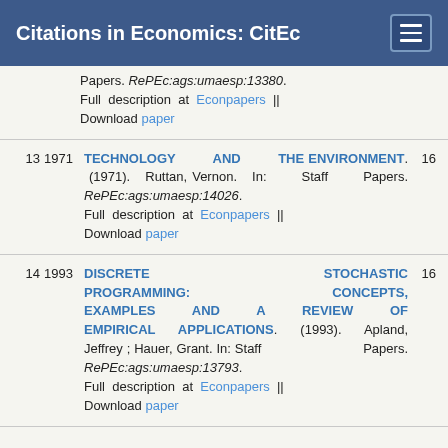Citations in Economics: CitEc
Papers. RePEc:ags:umaesp:13380. Full description at Econpapers || Download paper
13 1971 TECHNOLOGY AND THE ENVIRONMENT. (1971). Ruttan, Vernon. In: Staff Papers. RePEc:ags:umaesp:14026. Full description at Econpapers || Download paper [16 citations]
14 1993 DISCRETE STOCHASTIC PROGRAMMING: CONCEPTS, EXAMPLES AND A REVIEW OF EMPIRICAL APPLICATIONS. (1993). Apland, Jeffrey ; Hauer, Grant. In: Staff Papers. RePEc:ags:umaesp:13793. Full description at Econpapers || Download paper [16 citations]